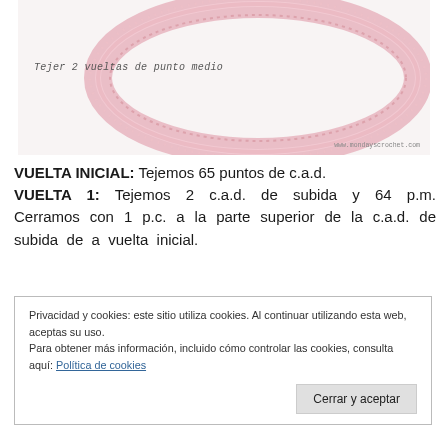[Figure (photo): Pink crocheted necklace/collar in a round shape on a white background. Text overlay reads 'Tejer 2 vueltas de punto medio'. Watermark: www.mondayscrochet.com]
Tejer 2 vueltas de punto medio
VUELTA INICIAL: Tejemos 65 puntos de c.a.d. VUELTA 1: Tejemos 2 c.a.d. de subida y 64 p.m. Cerramos con 1 p.c. a la parte superior de la c.a.d. de subida de a vuelta inicial.
Privacidad y cookies: este sitio utiliza cookies. Al continuar utilizando esta web, aceptas su uso.
Para obtener más información, incluido cómo controlar las cookies, consulta aquí: Política de cookies
Cerrar y aceptar